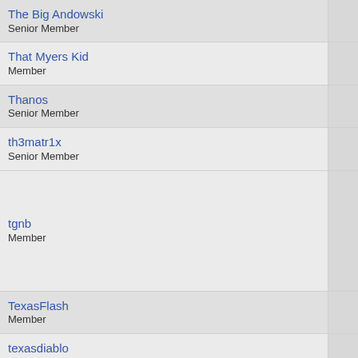The Big Andowski
Senior Member
That Myers Kid
Member
Thanos
Senior Member
th3matr1x
Senior Member
tgnb
Member
TexasFlash
Member
texasdiablo
Member
Teufel Diener
Senior Member
Teqnilogik
Member
Telek